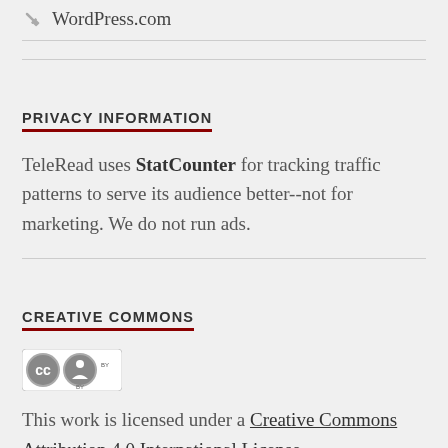WordPress.com
PRIVACY INFORMATION
TeleRead uses StatCounter for tracking traffic patterns to serve its audience better--not for marketing. We do not run ads.
CREATIVE COMMONS
[Figure (logo): Creative Commons CC BY badge/logo]
This work is licensed under a Creative Commons Attribution 4.0 International License